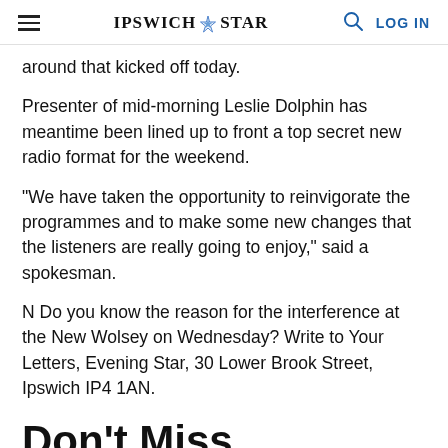IPSWICH STAR
around that kicked off today.
Presenter of mid-morning Leslie Dolphin has meantime been lined up to front a top secret new radio format for the weekend.
"We have taken the opportunity to reinvigorate the programmes and to make some new changes that the listeners are really going to enjoy," said a spokesman.
N Do you know the reason for the interference at the New Wolsey on Wednesday? Write to Your Letters, Evening Star, 30 Lower Brook Street, Ipswich IP4 1AN.
Don't Miss